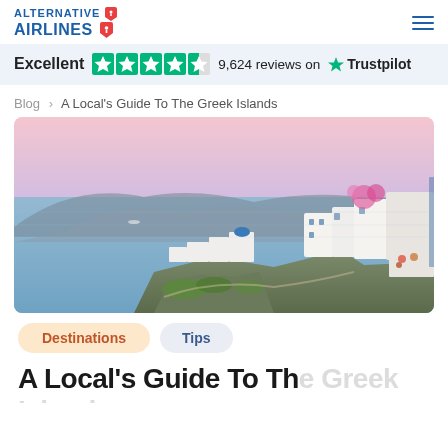Alternative Airlines
Excellent  9,624 reviews on  Trustpilot
Blog > A Local's Guide To The Greek Islands
[Figure (photo): Aerial view of Santorini, Greece with white buildings on cliffs overlooking the Aegean Sea at sunset with pink and purple sky]
Destinations  Tips
A Local's Guide To The Greek Islands